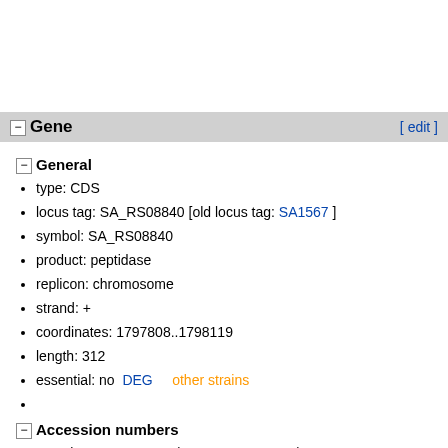Gene [ edit ]
General
type: CDS
locus tag: SA_RS08840 [old locus tag: SA1567 ]
symbol: SA_RS08840
product: peptidase
replicon: chromosome
strand: +
coordinates: 1797808..1798119
length: 312
essential: no DEG   other strains
Accession numbers
Location: NC_002745 (1797808..1798119) NCBI
BioCyc: G1G21-1784 BioCyc